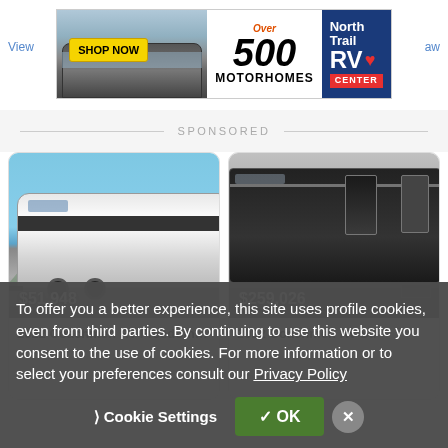[Figure (photo): North Trail RV Center banner advertisement showing a motorhome, 'SHOP NOW' button, 'Over 500 MOTORHOMES' text, and North Trail RV Center logo]
SPONSORED
[Figure (photo): 2022 Coachmen RV Freedom Express travel trailer, silver/white, price $51,948]
$51,948
2022 Coachmen Rv Freedom Expr...
[Figure (photo): 2022 Coachmen RV Su motorhome, dark colored, price $259,026]
$259,026
2022 Coachmen Rv Su
To offer you a better experience, this site uses profile cookies, even from third parties. By continuing to use this website you consent to the use of cookies. For more information or to select your preferences consult our Privacy Policy
Cookie Settings
✓ OK